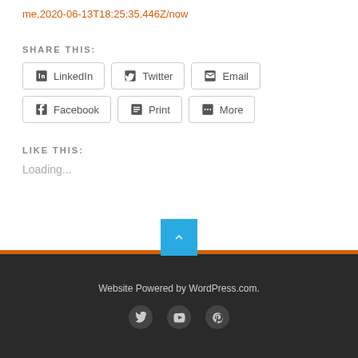me,2020-06-13T18:25:35.446Z/now
SHARE THIS:
LinkedIn
Twitter
Email
Facebook
Print
More
LIKE THIS:
Loading...
Website Powered by WordPress.com.